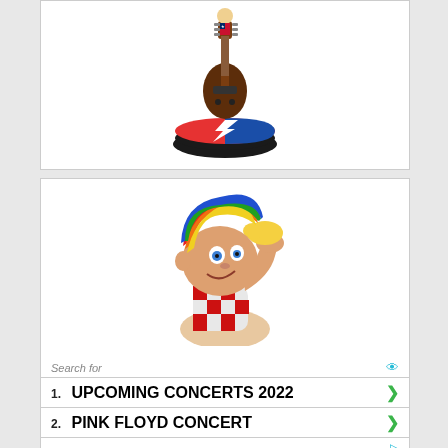[Figure (photo): Grateful Dead bobblehead figurine holding a guitar, standing on a red/white/blue lightning bolt circular base]
[Figure (photo): Cartoon figurine of a colorful rainbow-haired character eating a hotdog, wearing a red and white checkered shirt]
Search for
1.  UPCOMING CONCERTS 2022
2.  PINK FLOYD CONCERT